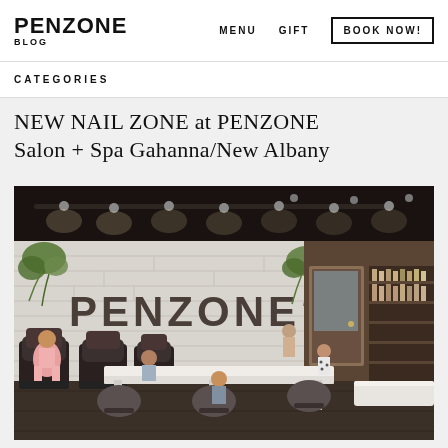PENZONE BLOG | MENU | GIFT | BOOK NOW!
CATEGORIES
NEW NAIL ZONE at PENZONE Salon + Spa Gahanna/New Albany
[Figure (photo): Interior rendering of the PENZONE Nail Zone salon space showing pedicure chairs, manicure tables, a large PENZONE logo on a white brick wall, pendant and track lighting with a dark ceiling, hanging green plants, and a product display shelf on the right.]